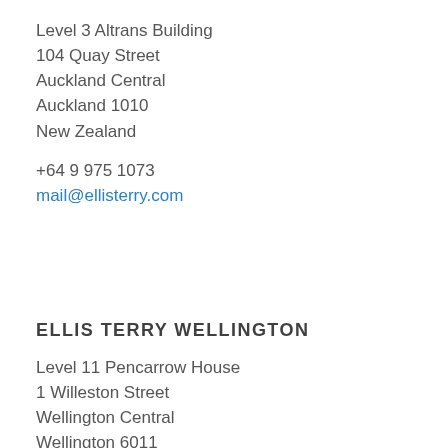Level 3 Altrans Building
104 Quay Street
Auckland Central
Auckland 1010
New Zealand

+64 9 975 1073
mail@ellisterry.com
ELLIS TERRY WELLINGTON
Level 11 Pencarrow House
1 Willeston Street
Wellington Central
Wellington 6011